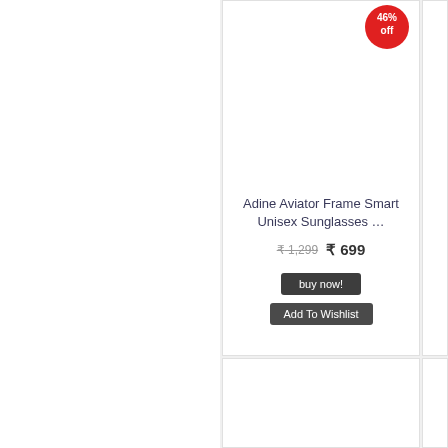[Figure (screenshot): E-commerce product listing page showing sunglasses cards. Center top card shows 'Adine Aviator Frame Smart Unisex Sunglasses ...' with a 46% off badge, original price ₹1,299, sale price ₹699, a 'buy now!' button and an 'Add To Wishlist' button. Partial product cards visible to the right and below.]
Adine Aviator Frame Smart Unisex Sunglasses ...
₹ 1,299  ₹ 699
buy now!
Add To Wishlist